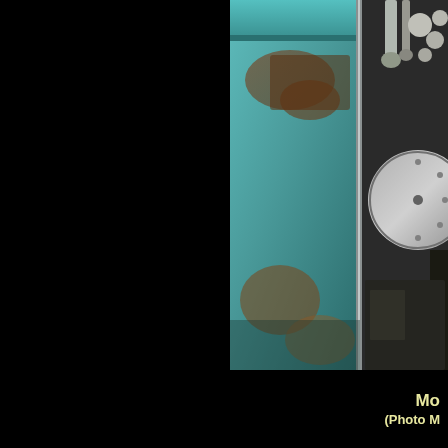[Figure (photo): Close-up photograph of an old, rusted industrial machine with teal/turquoise painted metal surfaces showing significant rust and wear. A circular disc component is visible on the right side, along with pipes and valves in the upper right. The machine appears to be heavy industrial equipment in a factory or workshop setting.]
Mo (Photo M